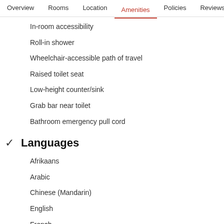Overview  Rooms  Location  Amenities  Policies  Reviews
In-room accessibility
Roll-in shower
Wheelchair-accessible path of travel
Raised toilet seat
Low-height counter/sink
Grab bar near toilet
Bathroom emergency pull cord
Languages
Afrikaans
Arabic
Chinese (Mandarin)
English
French
Greek
Italian